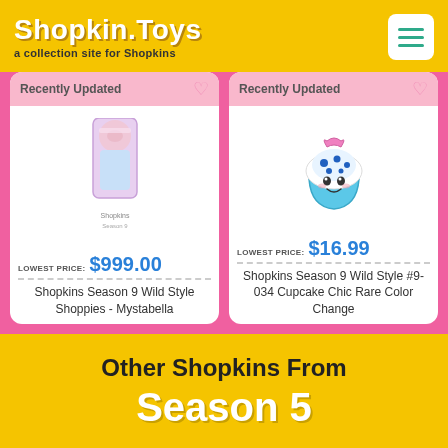Shopkin.Toys — a collection site for Shopkins
Recently Updated
[Figure (photo): Shopkins Season 9 Wild Style Shoppies Mystabella doll product packaging photo]
LOWEST PRICE: $999.00
Shopkins Season 9 Wild Style Shoppies - Mystabella
Recently Updated
[Figure (photo): Shopkins Season 9 Wild Style #9-034 Cupcake Chic Rare Color Change figure photo]
LOWEST PRICE: $16.99
Shopkins Season 9 Wild Style #9-034 Cupcake Chic Rare Color Change
Other Shopkins From Season 5